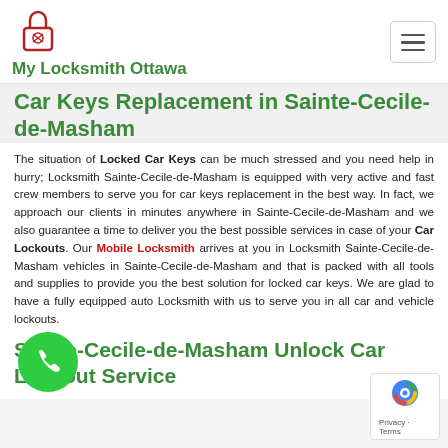[Figure (logo): My Locksmith Ottawa logo: red padlock with crossed keys inside, above green brand name text]
My Locksmith Ottawa
Car Keys Replacement in Sainte-Cecile-de-Masham
The situation of Locked Car Keys can be much stressed and you need help in hurry; Locksmith Sainte-Cecile-de-Masham is equipped with very active and fast crew members to serve you for car keys replacement in the best way. In fact, we approach our clients in minutes anywhere in Sainte-Cecile-de-Masham and we also guarantee a time to deliver you the best possible services in case of your Car Lockouts. Our Mobile Locksmith arrives at you in Locksmith Sainte-Cecile-de-Masham vehicles in Sainte-Cecile-de-Masham and that is packed with all tools and supplies to provide you the best solution for locked car keys. We are glad to have a fully equipped auto Locksmith with us to serve you in all car and vehicle lockouts.
Sainte-Cecile-de-Masham Unlock Car Lockout Service